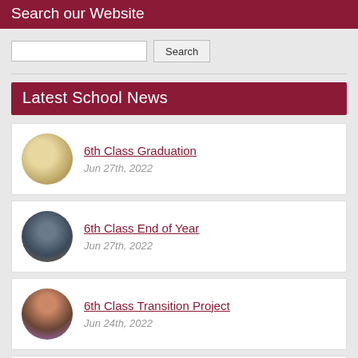Search our Website
Search
Latest School News
6th Class Graduation
Jun 27th, 2022
6th Class End of Year
Jun 27th, 2022
6th Class Transition Project
Jun 24th, 2022
Active Schools Week